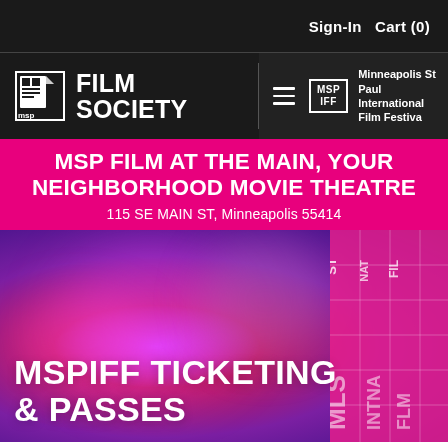Sign-In   Cart (0)
[Figure (logo): MSP Film Society logo with stylized film reel icon and text FILM SOCIETY]
Minneapolis St Paul International Film Festival
MSP FILM AT THE MAIN, YOUR NEIGHBORHOOD MOVIE THEATRE
115 SE MAIN ST, Minneapolis 55414
[Figure (photo): Purple and pink gradient hero background with film strip elements on the right side]
MSPIFF TICKETING & PASSES